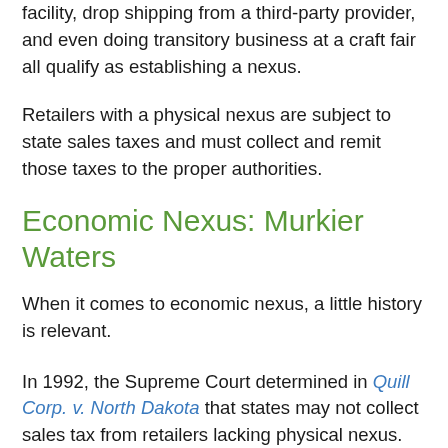facility, drop shipping from a third-party provider, and even doing transitory business at a craft fair all qualify as establishing a nexus.
Retailers with a physical nexus are subject to state sales taxes and must collect and remit those taxes to the proper authorities.
Economic Nexus: Murkier Waters
When it comes to economic nexus, a little history is relevant.
In 1992, the Supreme Court determined in Quill Corp. v. North Dakota that states may not collect sales tax from retailers lacking physical nexus. Though Quill revolved around mail-order catalog sales, by the end